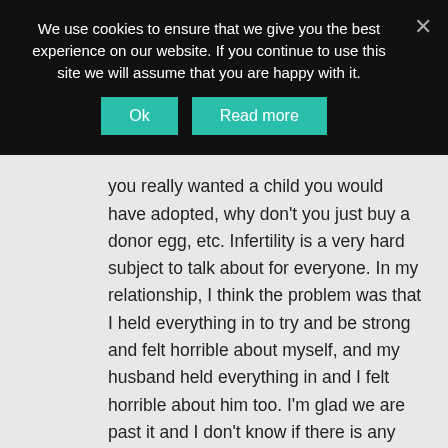We use cookies to ensure that we give you the best experience on our website. If you continue to use this site we will assume that you are happy with it.
you really wanted a child you would have adopted, why don't you just buy a donor egg, etc. Infertility is a very hard subject to talk about for everyone. In my relationship, I think the problem was that I held everything in to try and be strong and felt horrible about myself, and my husband held everything in and I felt horrible about him too. I'm glad we are past it and I don't know if there is any easy solution for getting through it.